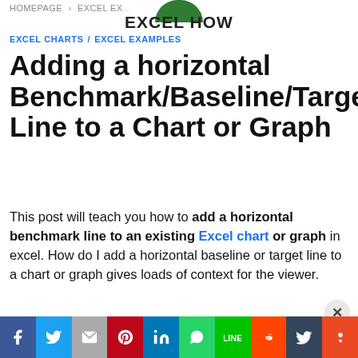HOMEPAGE › EXCEL EX…
[Figure (logo): Excel How logo with green circle on top and bold text EXCEL HOW]
EXCEL CHARTS / EXCEL EXAMPLES
Adding a horizontal Benchmark/Baseline/Target Line to a Chart or Graph
This post will teach you how to add a horizontal benchmark line to an existing Excel chart or graph in excel. How do I add a horizontal baseline or target line to a chart or graph gives loads of context for the viewer.
[Figure (other): Social sharing bar with Facebook, Twitter, Gmail, Pinterest, LinkedIn, WhatsApp, Line, Reddit, Tumblr, StumbleUpon buttons]